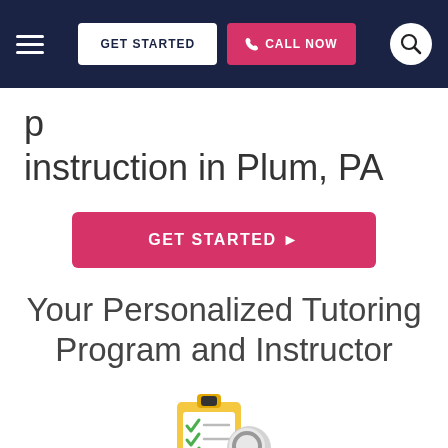GET STARTED  CALL NOW
instruction in Plum, PA
GET STARTED ▶
Your Personalized Tutoring Program and Instructor
[Figure (illustration): Clipboard with checklist and magnifying glass icon]